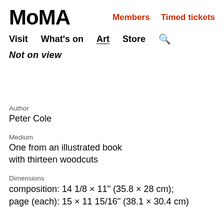MoMA   Members   Timed tickets
Visit   What's on   Art   Store   🔍
Not on view
Author
Peter Cole
Medium
One from an illustrated book with thirteen woodcuts
Dimensions
composition: 14 1/8 × 11" (35.8 × 28 cm); page (each): 15 × 11 15/16" (38.1 × 30.4 cm)